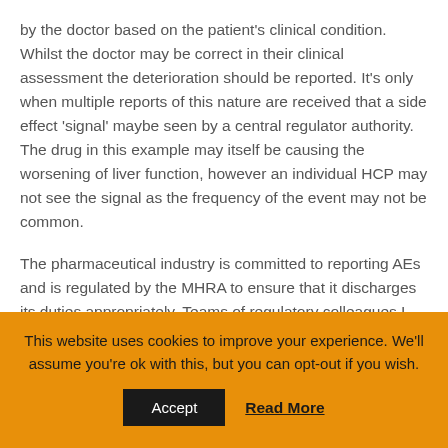by the doctor based on the patient's clinical condition. Whilst the doctor may be correct in their clinical assessment the deterioration should be reported. It's only when multiple reports of this nature are received that a side effect 'signal' maybe seen by a central regulator authority. The drug in this example may itself be causing the worsening of liver function, however an individual HCP may not see the signal as the frequency of the event may not be common.
The pharmaceutical industry is committed to reporting AEs and is regulated by the MHRA to ensure that it discharges its duties appropriately. Teams of regulatory colleagues I have worked with have gone beyond waiting for AEs to be reported to
This website uses cookies to improve your experience. We'll assume you're ok with this, but you can opt-out if you wish.